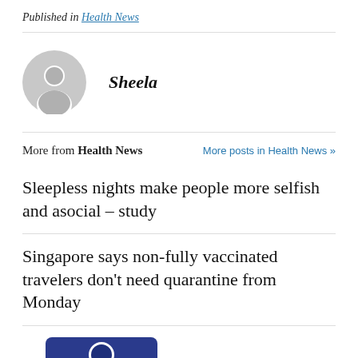Published in Health News
[Figure (illustration): Gray circular avatar/profile placeholder icon]
Sheela
More from Health News   More posts in Health News »
Sleepless nights make people more selfish and asocial – study
Singapore says non-fully vaccinated travelers don't need quarantine from Monday
[Figure (illustration): Dark navy blue circular avatar/profile placeholder icon, partially visible at bottom of page]